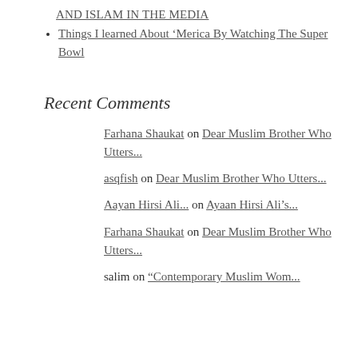AND ISLAM IN THE MEDIA
Things I learned About ‘Merica By Watching The Super Bowl
Recent Comments
Farhana Shaukat on Dear Muslim Brother Who Utters...
asqfish on Dear Muslim Brother Who Utters...
Aayan Hirsi Ali... on Ayaan Hirsi Ali’s...
Farhana Shaukat on Dear Muslim Brother Who Utters...
salim on “Contemporary Muslim Wom...